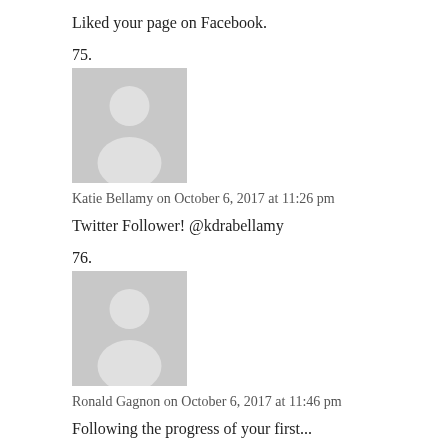Liked your page on Facebook.
75.
[Figure (illustration): Generic grey avatar placeholder image with silhouette of a person]
Katie Bellamy on October 6, 2017 at 11:26 pm
Twitter Follower! @kdrabellamy
76.
[Figure (illustration): Generic grey avatar placeholder image with silhouette of a person]
Ronald Gagnon on October 6, 2017 at 11:46 pm
Following the progress of your first...